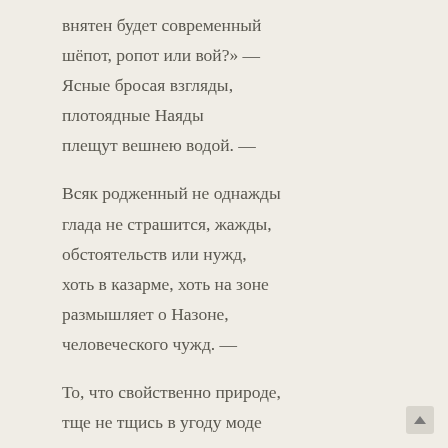внятен будет современный шёпот, ропот или вой?» — Ясные бросая взгляды, плотоядные Наяды плещут вешнею водой. —

Всяк родженный не однажды глада не страшится, жажды, обстоятельств или нужд, хоть в казарме, хоть на зоне размышляет о Назоне, человеческого чужд. —

То, что свойственно природе, тще не тщись в угоду моде